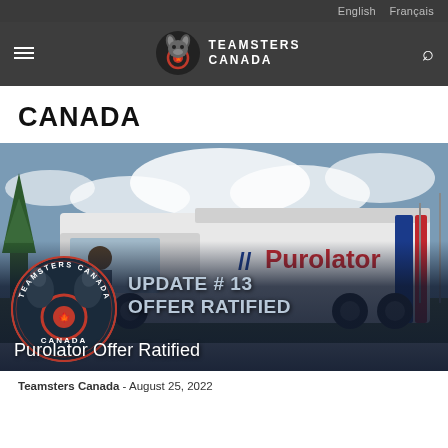English   Français
[Figure (screenshot): Teamsters Canada navigation bar with hamburger menu, Teamsters Canada logo (wolf head with maple leaf), and search icon on dark background]
CANADA
[Figure (photo): Purolator delivery truck parked outdoors with trees and cloudy sky in background. Overlay shows Teamsters Canada badge and text 'UPDATE # 13 OFFER RATIFIED' in bold white/grey letters on dark semi-transparent background.]
Purolator Offer Ratified
Teamsters Canada - August 25, 2022